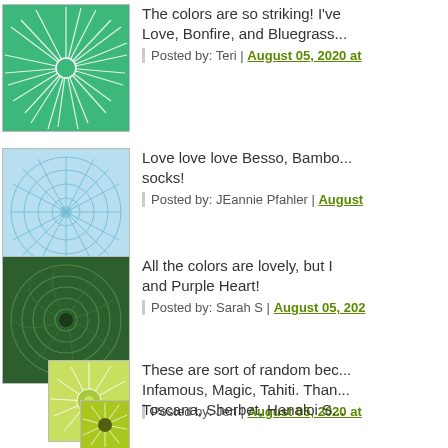[Figure (illustration): Green sunburst/spiral pattern thumbnail avatar]
The colors are so striking! I've Love, Bonfire, and Bluegrass...
Posted by: Teri | August 05, 2020 at...
[Figure (illustration): Light blue geometric circle pattern thumbnail avatar]
Love love love Besso, Bambo... socks!
Posted by: JEannie Pfahler | August...
[Figure (illustration): Dark green spiral/swirl pattern thumbnail avatar]
All the colors are lovely, but I... and Purple Heart!
Posted by: Sarah S | August 05, 202...
[Figure (illustration): Yellow-green sunburst pattern thumbnail avatar]
These are sort of random bec... Infamous, Magic, Tahiti. Than...
Posted by: Jeri | August 05, 2020 at...
[Figure (illustration): Yellow-green sunburst with dark center thumbnail avatar]
Toscana, Sherbet, Hanaloi S...